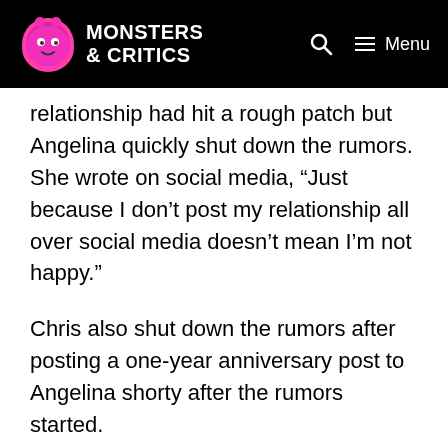Monsters & Critics — Menu
relationship had hit a rough patch but Angelina quickly shut down the rumors. She wrote on social media, “Just because I don’t post my relationship all over social media doesn’t mean I’m not happy.”
Chris also shut down the rumors after posting a one-year anniversary post to Angelina shorty after the rumors started.
[Figure (other): Embedded social media post (white box with border, content not visible)]